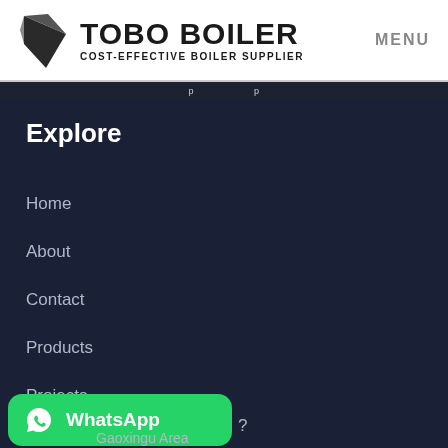[Figure (logo): Tobo Boiler logo with geometric kite/diamond icon in dark brown/black, company name TOBO BOILER in bold black, subtitle COST-EFFECTIVE BOILER SUPPLIER]
MENU
Explore
Home
About
Contact
Products
Projects
[Figure (logo): WhatsApp green button with WhatsApp phone icon and WhatsApp text label]
?
Gaoxingu Area